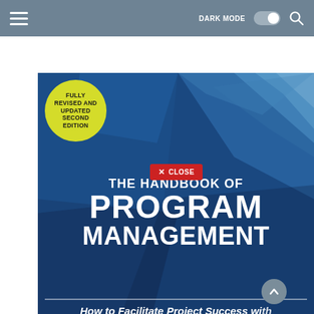☰  DARK MODE  🔍
[Figure (illustration): Book cover of 'The Handbook of Program Management, Fully Revised and Updated Second Edition' with blue geometric background, yellow circular badge, and subtitle 'How to Facilitate Project Success with Optimal Program Management'. A red CLOSE button overlay is visible on the cover.]